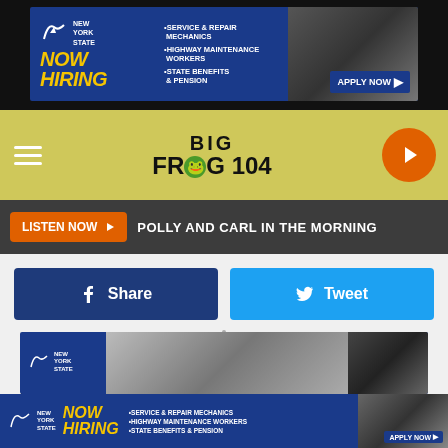[Figure (screenshot): New York State Now Hiring advertisement banner - blue background with yellow NOW HIRING text, bullet points for Service & Repair Mechanics, Highway Maintenance Workers, State Benefits & Pension, and APPLY NOW button]
[Figure (logo): Big Frog 104 radio station logo on yellow/green background with hamburger menu and orange play button]
[Figure (screenshot): Listen Now button in orange with play arrow, followed by POLLY AND CARL IN THE MORNING text on dark grey bar]
[Figure (screenshot): Social share buttons: Facebook Share button in dark blue and Twitter Tweet button in light blue]
to make the commute on foot. But inevitably around that time (and often earlier in the night), drivers will make the poor decision to drive their own cars home, believing that the alcohol in their system isn't affecting their ability to safely maneuver their vehicle.
[Figure (screenshot): Partial New York State Now Hiring advertisement banner at bottom of page]
[Figure (screenshot): New York State Now Hiring footer advertisement banner with yellow NOW HIRING text and APPLY NOW button]